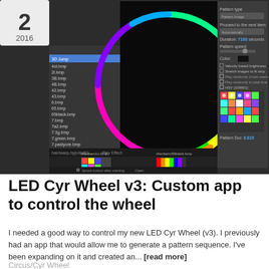[Figure (screenshot): Screenshot of a custom LED Cyr Wheel control application showing a dark UI with a large circular LED ring displayed in the center area (showing multicolored LEDs forming a circle on black background), a file list panel on the left with items like '3D Jump', '4st.bmp', pattern controls on the right side including pattern type, duration (7163 seconds), pattern speed slider, color swatch, checkboxes for velocity-based brightness and stretch images, and a colorful pattern preview image. Bottom area shows media transport controls (rewind, fast-forward, play, next) and a thumbnail strip with two pattern images. A date badge showing '2' and '2016' appears in the top-left corner.]
LED Cyr Wheel v3: Custom app to control the wheel
I needed a good way to control my new LED Cyr Wheel (v3). I previously had an app that would allow me to generate a pattern sequence. I've been expanding on it and created an... [read more]
Circus/Cyr Wheel